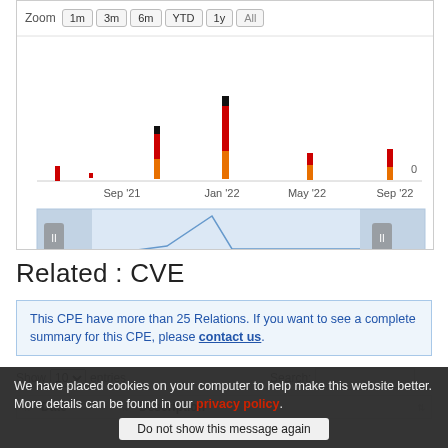[Figure (bar-chart): Time-series stacked bar chart showing CVE severity (critical/high/medium) from mid-2021 to Sep 2022, with zoom controls (1m, 3m, 6m, YTD, 1y, All) and a range navigator below.]
Related : CVE
This CPE have more than 25 Relations. If you want to see a complete summary for this CPE, please contact us.
Show 10 entries   Search:
We have placed cookies on your computer to help make this website better. More details can be found in our privacy policy.
Do not show this message again
| Date | Description |
| --- | --- |